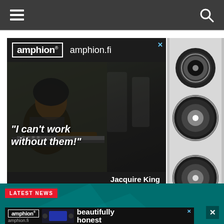Navigation bar with hamburger menu and search icon
[Figure (photo): Amphion advertisement showing a studio engineer working at a mixing desk with speakers. Text reads: amphion, amphion.fi, "I can't work without them!", Jacquire King, Norah Jones, Kings of Leon, Tom Waits]
[Figure (photo): Amphion advertisement on right side showing loudspeaker close-up]
LATEST NEWS
[Figure (screenshot): Partial amphion advertisement at bottom: amphion logo, amphion.fi, beautifully honest]